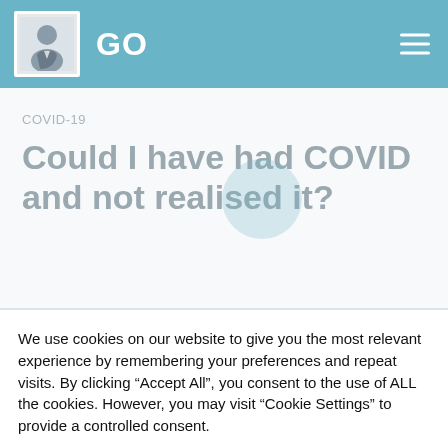GO
COVID-19
Could I have had COVID and not realised it?
We use cookies on our website to give you the most relevant experience by remembering your preferences and repeat visits. By clicking “Accept All”, you consent to the use of ALL the cookies. However, you may visit “Cookie Settings” to provide a controlled consent.